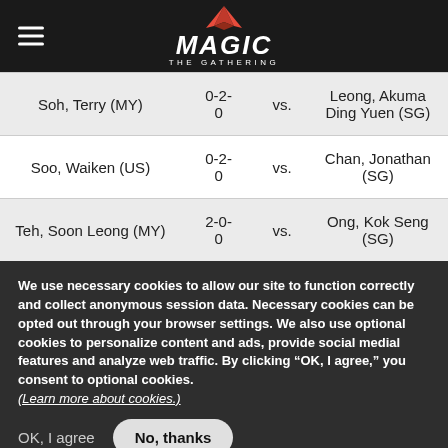Magic: The Gathering
| Player 1 | Score | vs. | Player 2 |
| --- | --- | --- | --- |
| Soh, Terry (MY) | 0-2-0 | vs. | Leong, Akuma Ding Yuen (SG) |
| Soo, Waiken (US) | 0-2-0 | vs. | Chan, Jonathan (SG) |
| Teh, Soon Leong (MY) | 2-0-0 | vs. | Ong, Kok Seng (SG) |
We use necessary cookies to allow our site to function correctly and collect anonymous session data. Necessary cookies can be opted out through your browser settings. We also use optional cookies to personalize content and ads, provide social medial features and analyze web traffic. By clicking “OK, I agree,” you consent to optional cookies. (Learn more about cookies.)
OK, I agree   No, thanks